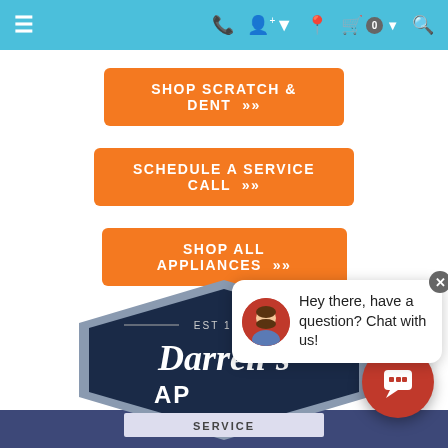≡  📞  👤  📍  🛒 0  🔍
SHOP SCRATCH & DENT »
SCHEDULE A SERVICE CALL »
SHOP ALL APPLIANCES »
[Figure (logo): Darrell's Appliances EST 1970 hexagon badge logo in dark navy and grey, partially obscured by chat popup]
[Figure (screenshot): Chat widget popup with avatar and text 'Hey there, have a question? Chat with us!' with a red circular chat button below]
SHOP BY CATEGORY ▾